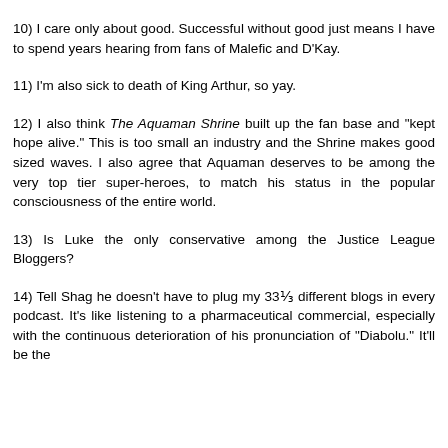concert I went to where they absolutely refused to play "The Distance," for instance.
10) I care only about good. Successful without good just means I have to spend years hearing from fans of Malefic and D'Kay.
11) I'm also sick to death of King Arthur, so yay.
12) I also think The Aquaman Shrine built up the fan base and "kept hope alive." This is too small an industry and the Shrine makes good sized waves. I also agree that Aquaman deserves to be among the very top tier super-heroes, to match his status in the popular consciousness of the entire world.
13) Is Luke the only conservative among the Justice League Bloggers?
14) Tell Shag he doesn't have to plug my 33⅓ different blogs in every podcast. It's like listening to a pharmaceutical commercial, especially with the continuous deterioration of his pronunciation of "Diabolu." It'll be the